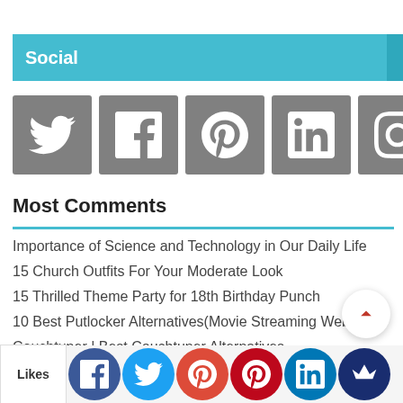Social
[Figure (infographic): Row of 7 social media icon buttons (grey squares): Twitter, Facebook, Google+, LinkedIn, Instagram, RSS, Pinterest]
Most Comments
Importance of Science and Technology in Our Daily Life
15 Church Outfits For Your Moderate Look
15 Thrilled Theme Party for 18th Birthday Punch
10 Best Putlocker Alternatives(Movie Streaming Websites)
Couchtuner | Best Couchtuner Alternatives
Movie Streaming Sites to Watch Movies without Downloading
13 KissAnime.ru Alternatives: Best Anime Sites Like KissAnime 2022
Likes | Facebook | Twitter | Google+ | Pinterest | LinkedIn | Crown